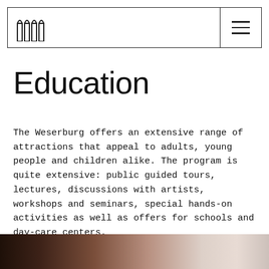[Weserburg logo] [hamburger menu]
Education
The Weserburg offers an extensive range of attractions that appeal to adults, young people and children alike. The program is quite extensive: public guided tours, lectures, discussions with artists, workshops and seminars, special hands-on activities as well as offers for schools and day-care centers.
[Figure (photo): Partial view of a photograph at the bottom of the page, showing a dark-to-light gradient image, likely an interior or artwork photo.]